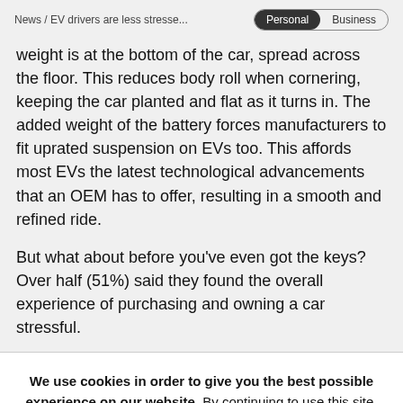News / EV drivers are less stresse...  Personal  Business
weight is at the bottom of the car, spread across the floor. This reduces body roll when cornering, keeping the car planted and flat as it turns in. The added weight of the battery forces manufacturers to fit uprated suspension on EVs too. This affords most EVs the latest technological advancements that an OEM has to offer, resulting in a smooth and refined ride.
But what about before you've even got the keys? Over half (51%) said they found the overall experience of purchasing and owning a car stressful.
We use cookies in order to give you the best possible experience on our website. By continuing to use this site, you agree to our use of cookies.
Continue  Privacy Policy